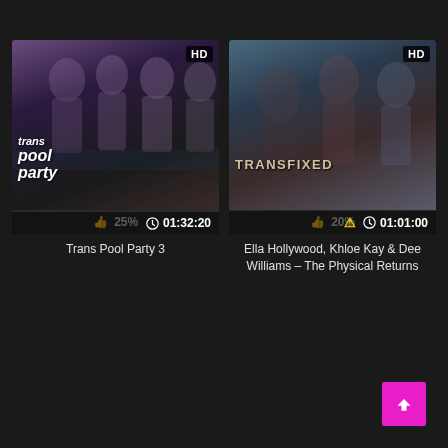[Figure (screenshot): Video thumbnail for 'Trans Pool Party 3' showing HD badge, duration 01:32:20, and 25% like rating]
Trans Pool Party 3
[Figure (screenshot): Video thumbnail for 'Ella Hollywood, Khloe Kay & Dee Williams – The Physical Returns' showing HD badge, duration 01:01:00, and 20% like rating]
Ella Hollywood, Khloe Kay & Dee Williams – The Physical Returns